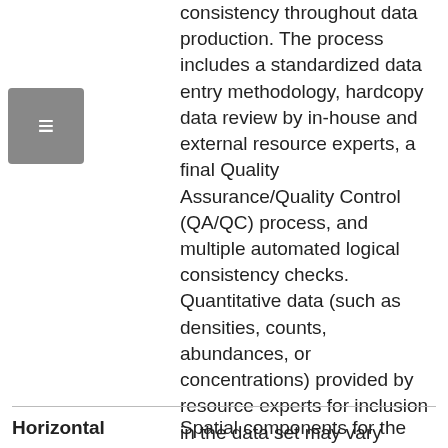consistency throughout data production. The process includes a standardized data entry methodology, hardcopy data review by in-house and external resource experts, a final Quality Assurance/Quality Control (QA/QC) process, and multiple automated logical consistency checks. Quantitative data (such as densities, counts, abundances, or concentrations) provided by resource experts for inclusion in the data set may vary widely in attribute accuracy, depending upon the methodology used to collect and compile such data. For a more detailed evaluation of source data attribute accuracy, contact the sources listed in the Lineage section.
Horizontal
Spatial components for the